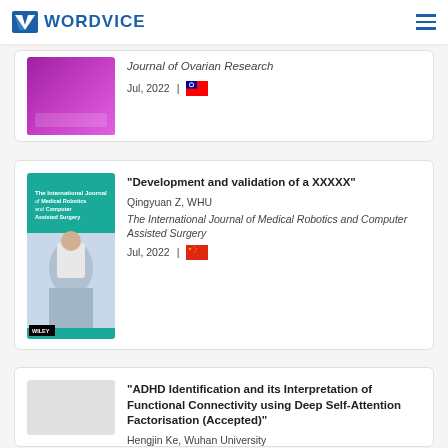WORDVICE
Journal of Ovarian Research
Jul, 2022 | 🇹🇼
"Development and validation of a XXXXX"
Qingyuan Z, WHU
The International Journal of Medical Robotics and Computer Assisted Surgery
Jul, 2022 | 🇨🇳
"ADHD Identification and its Interpretation of Functional Connectivity using Deep Self-Attention Factorisation (Accepted)"
Hengjin Ke, Wuhan University